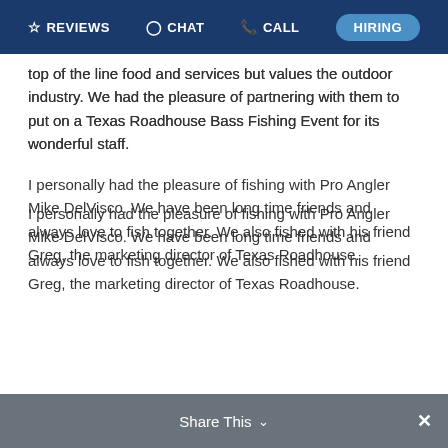REVIEWS  CHAT  CALL  HIRING
top of the line food and services but values the outdoor industry. We had the pleasure of partnering with them to put on a Texas Roadhouse Bass Fishing Event for its wonderful staff.
I personally had the pleasure of fishing with Pro Angler Mike DelVisco. We have been long time friends and always love to fish together. We also fished with his friend Greg, the marketing director of Texas Roadhouse.
Texas Roadhouse was putting on a conference for its employees and wanted to also provide an incredible fishing experience as well. Lake Toho Bass Fishing was a great choice to cater to an event like this.
Everyone had a great time out on the water as we took two rounds of people out. Boats were filled with happy employees that enjoyed the sunshine and the Florida Bass
Share This